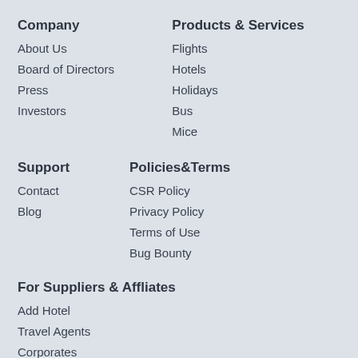Company
About Us
Board of Directors
Press
Investors
Products & Services
Flights
Hotels
Holidays
Bus
Mice
Support
Contact
Blog
Policies&Terms
CSR Policy
Privacy Policy
Terms of Use
Bug Bounty
For Suppliers & Affliates
Add Hotel
Travel Agents
Corporates